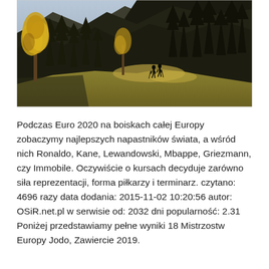[Figure (photo): Mountain landscape with tall pine trees, yellow autumn trees on the left, and two silhouetted hikers standing on a ridge in sunlight, with dark forested mountain slopes in the background.]
Podczas Euro 2020 na boiskach całej Europy zobaczymy najlepszych napastników świata, a wśród nich Ronaldo, Kane, Lewandowski, Mbappe, Griezmann, czy Immobile. Oczywiście o kursach decyduje zarówno siła reprezentacji, forma piłkarzy i terminarz. czytano: 4696 razy data dodania: 2015-11-02 10:20:56 autor: OSiR.net.pl w serwisie od: 2032 dni popularność: 2.31 Poniżej przedstawiamy pełne wyniki 18 Mistrzostw Europy Jodo, Zawiercie 2019.